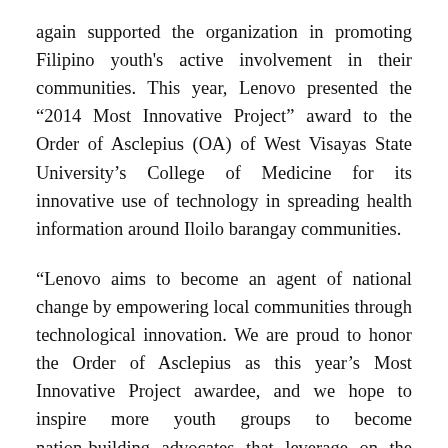again supported the organization in promoting Filipino youth's active involvement in their communities. This year, Lenovo presented the “2014 Most Innovative Project” award to the Order of Asclepius (OA) of West Visayas State University’s College of Medicine for its innovative use of technology in spreading health information around Iloilo barangay communities.
“Lenovo aims to become an agent of national change by empowering local communities through technological innovation. We are proud to honor the Order of Asclepius as this year’s Most Innovative Project awardee, and we hope to inspire more youth groups to become nation-building advocates that leverage on the power of technology in serving their respective communities,” said Michael Ngan, Country